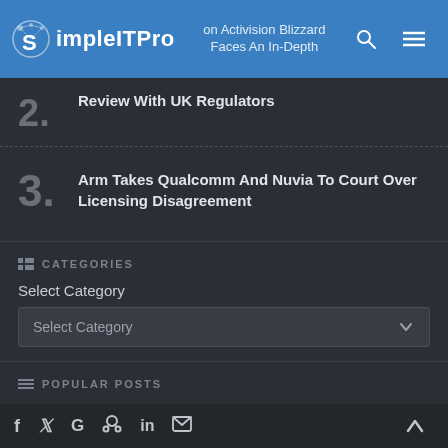SimpleITPro — Activision Blizzard Faces An In-Depth Review With UK Regulators
2. Activision Blizzard Faces An In-Depth Review With UK Regulators
3. Arm Takes Qualcomm And Nuvia To Court Over Licensing Disagreement
CATEGORIES
Select Category
POPULAR POSTS
Microsoft Brings Back the Windows 11 Tray Without the Explorer User Work...
Social share icons and back to top